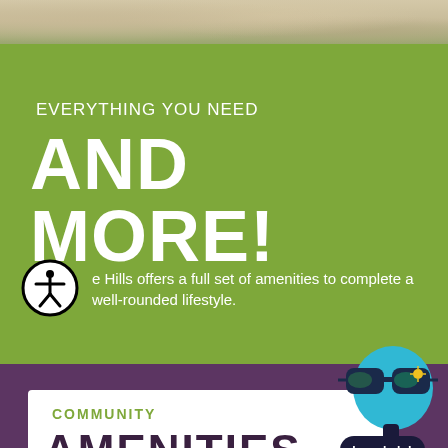[Figure (photo): Stone or marble surface texture photo strip at top of page]
EVERYTHING YOU NEED
AND MORE!
e Hills offers a full set of amenities to complete a well-rounded lifestyle.
[Figure (illustration): Cartoon chatbot character with sunglasses and 'I can help!' speech bubble]
COMMUNITY
AMENITIES